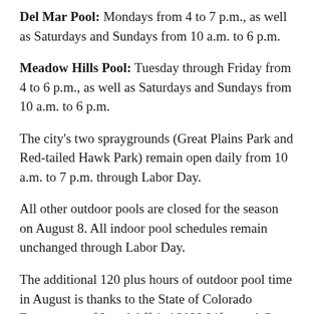Del Mar Pool: Mondays from 4 to 7 p.m., as well as Saturdays and Sundays from 10 a.m. to 6 p.m.
Meadow Hills Pool: Tuesday through Friday from 4 to 6 p.m., as well as Saturdays and Sundays from 10 a.m. to 6 p.m.
The city's two spraygrounds (Great Plains Park and Red-tailed Hawk Park) remain open daily from 10 a.m. to 7 p.m. through Labor Day.
All other outdoor pools are closed for the season on August 8. All indoor pool schedules remain unchanged through Labor Day.
The additional 120 plus hours of outdoor pool time in August is thanks to the State of Colorado Department of Local Affairs' 2022 Lifeguard Grant and the many City of Aurora seasonal lifeguards willing to work after school